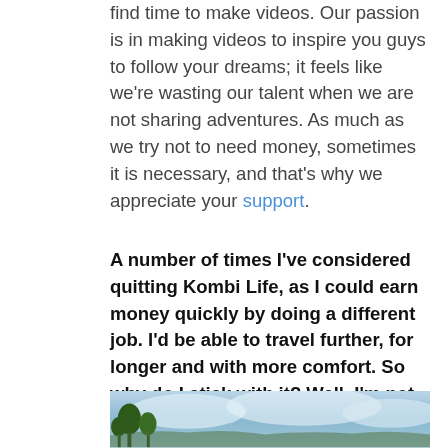find time to make videos.  Our passion is in making videos to inspire you guys to follow your dreams; it feels like we're wasting our talent when we are not sharing adventures.  As much as we try not to need money, sometimes it is necessary, and that's why we appreciate your support.
A number of times I've considered quitting Kombi Life, as I could earn money quickly by doing a different job.  I'd be able to travel further, for longer and with more comfort.  So why do I stick with it?  Well, I'm not interested in being cash rich (obviously), and I don't do this in the hope to be a famous YouTuber (*eek the thought of it freaks me out!)  I do this to reach a generation and deliver a message:
[Figure (photo): Partial view of an outdoor scene with sky and trees visible at bottom of page]